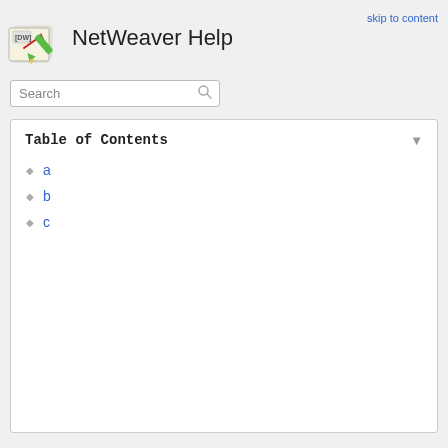NetWeaver Help
skip to content
Search
Table of Contents
a
b
c